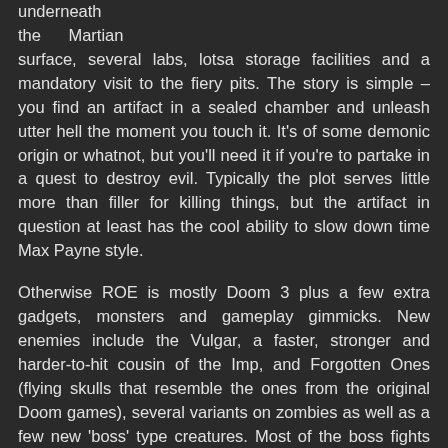underneath the    Martian surface, several labs, lotsa storage facilities and a mandatory visit to the fiery pits. The story is simple – you find an artifact in a sealed chamber and unleash utter hell the moment you touch it. It's of some demonic origin or whatnot, but you'll need it if you're to partake in a quest to destroy evil. Typically the plot serves little more than filler for killing things, but the artifact in question at least has the cool ability to slow down time Max Payne style.
Otherwise ROE is mostly Doom 3 plus a few extra gadgets, monsters and gameplay gimmicks. New enemies include the Vulgar, a faster, stronger and harder-to-hit cousin of the Imp, and Forgotten Ones (flying skulls that resemble the ones from the original Doom games), several variants on zombies as well as a few new 'boss' type creatures. Most of the boss fights require some intuition alongside brute force, courtesy of the game's overall emphasis on puzzle solving.
You'll have to go through a greater deal more key hunts this time around, whether they're literally called Key Cards or Power Cells. Busted machinery such as elevators and the like will need juice to function, to which you'll have to scavenge the level in